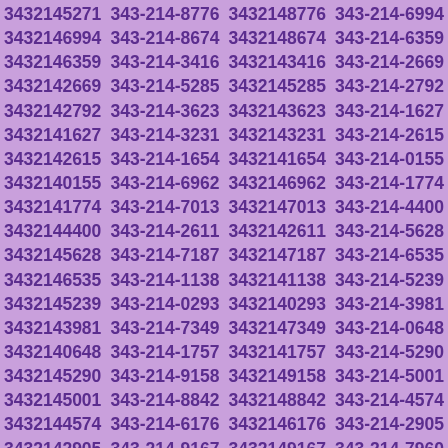3432145271 343-214-8776 3432148776 343-214-6994 3432146994 343-214-8674 3432148674 343-214-6359 3432146359 343-214-3416 3432143416 343-214-2669 3432142669 343-214-5285 3432145285 343-214-2792 3432142792 343-214-3623 3432143623 343-214-1627 3432141627 343-214-3231 3432143231 343-214-2615 3432142615 343-214-1654 3432141654 343-214-0155 3432140155 343-214-6962 3432146962 343-214-1774 3432141774 343-214-7013 3432147013 343-214-4400 3432144400 343-214-2611 3432142611 343-214-5628 3432145628 343-214-7187 3432147187 343-214-6535 3432146535 343-214-1138 3432141138 343-214-5239 3432145239 343-214-0293 3432140293 343-214-3981 3432143981 343-214-7349 3432147349 343-214-0648 3432140648 343-214-1757 3432141757 343-214-5290 3432145290 343-214-9158 3432149158 343-214-5001 3432145001 343-214-8842 3432148842 343-214-4574 3432144574 343-214-6176 3432146176 343-214-2905 3432142905 343-214-9167 3432149167 343-214-7960 3432147960 343-214-4799 3432144799 343-214-2071 3432142071 343-214-1223 3432141223 343-214-9675